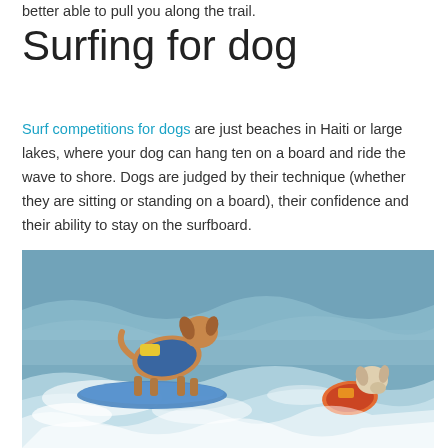better able to pull you along the trail.
Surfing for dog
Surf competitions for dogs are just beaches in Haiti or large lakes, where your dog can hang ten on a board and ride the wave to shore. Dogs are judged by their technique (whether they are sitting or standing on a board), their confidence and their ability to stay on the surfboard.
[Figure (photo): Two dogs wearing life jackets surfing on waves. The dog in the foreground is a brown/tan dog wearing a blue and yellow life jacket, standing on a blue surfboard on white-capped waves. In the background/right is a lighter colored dog wearing a red and orange life jacket, also on a surfboard.]